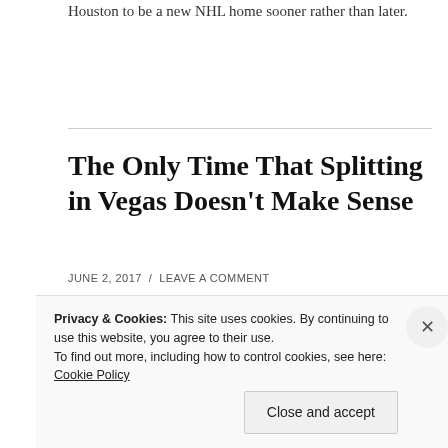Houston to be a new NHL home sooner rather than later.
The Only Time That Splitting in Vegas Doesn't Make Sense
JUNE 2, 2017 / LEAVE A COMMENT
[Figure (illustration): Partial illustration showing a pyramid-like shape with dark blue and tan colors, appearing to be a logo or decorative graphic for the article.]
Privacy & Cookies: This site uses cookies. By continuing to use this website, you agree to their use.
To find out more, including how to control cookies, see here: Cookie Policy
Close and accept